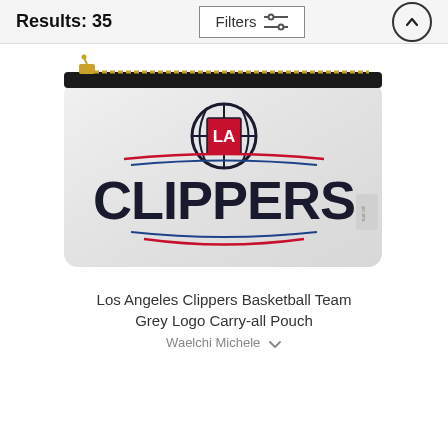Results: 35
[Figure (photo): A grey carry-all pouch with the Los Angeles Clippers basketball team logo printed on it. The pouch has a gold zipper at the top and shows the Clippers wordmark with the LA basketball logo above it, flanked by red and blue curved lines.]
Los Angeles Clippers Basketball Team Grey Logo Carry-all Pouch
Waelchi Michele